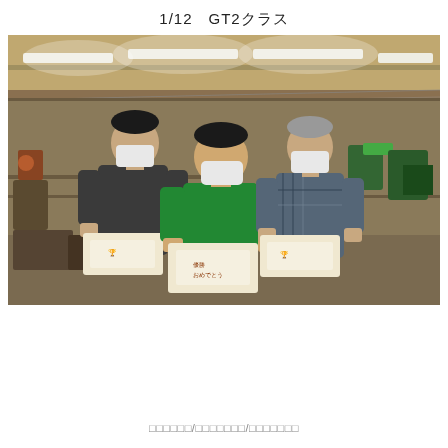1/12　GT2クラス
[Figure (photo): Three people wearing face masks standing indoors in a workshop/garage setting, each holding a white paper bag. The person on the left wears a dark jacket, the person in the center wears a green t-shirt, and the person on the right wears a plaid shirt. Fluorescent lights and equipment are visible in the background.]
□□□□□□/□□□□□□□/□□□□□□□